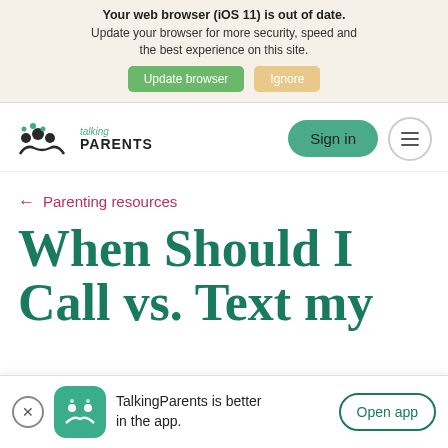Your web browser (iOS 11) is out of date. Update your browser for more security, speed and the best experience on this site. Update browser | Ignore
[Figure (logo): TalkingParents logo with icon of two people and child]
Sign in
← Parenting resources
When Should I Call vs. Text my
TalkingParents is better in the app. Open app